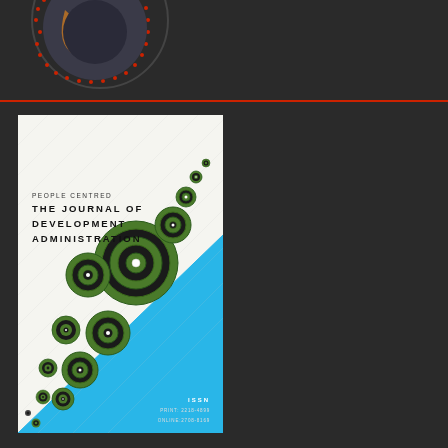[Figure (logo): Circular institutional logo/seal with dark background, orange/brown decorative elements, red dotted border ring at top of page]
[Figure (illustration): Journal cover for 'People Centred: The Journal of Development Administration'. White/light top half with diagonal split into sky blue lower right. Multiple concentric circle designs (targets) scattered diagonally from large to small. Text shows journal title in bold black uppercase. Bottom right corner shows ISSN information: PRINT: 2218-4899, ONLINE:2708-8169]